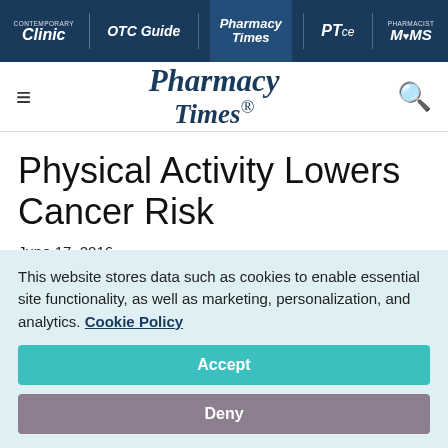Clinic | OTC Guide | Pharmacy Times | PTce | Pharmacist MOMS
[Figure (logo): Pharmacy Times logo with hamburger menu and search icon]
Physical Activity Lowers Cancer Risk
June 17, 2016
Lauren Santye, Assistant Editor
This website stores data such as cookies to enable essential site functionality, as well as marketing, personalization, and analytics. Cookie Policy
Accept
Deny